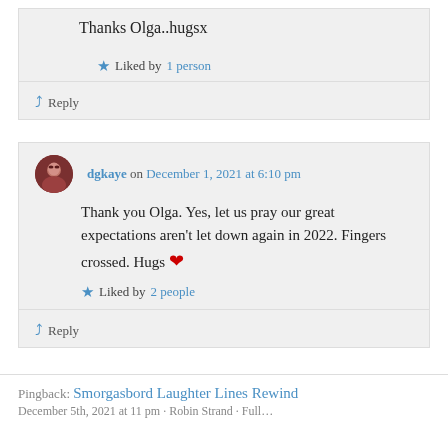Thanks Olga..hugsx
Liked by 1 person
Reply
dgkaye on December 1, 2021 at 6:10 pm
Thank you Olga. Yes, let us pray our great expectations aren't let down again in 2022. Fingers crossed. Hugs ❤
Liked by 2 people
Reply
Pingback: Smorgasbord Laughter Lines Rewind